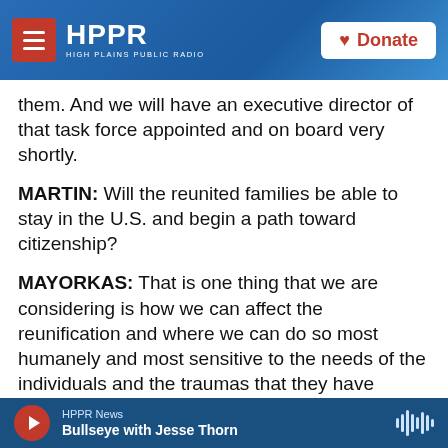[Figure (screenshot): HPPR High Plains Public Radio navigation bar with hamburger menu, HPPR logo, and Donate button with heart icon]
them. And we will have an executive director of that task force appointed and on board very shortly.
MARTIN: Will the reunited families be able to stay in the U.S. and begin a path toward citizenship?
MAYORKAS: That is one thing that we are considering is how we can affect the reunification and where we can do so most humanely and most sensitive to the needs of the individuals and the traumas that they have suffered. We are certainly considering reuniting those families here in the United States or in the countries of origin, whatever
HPPR News | Bullseye with Jesse Thorn